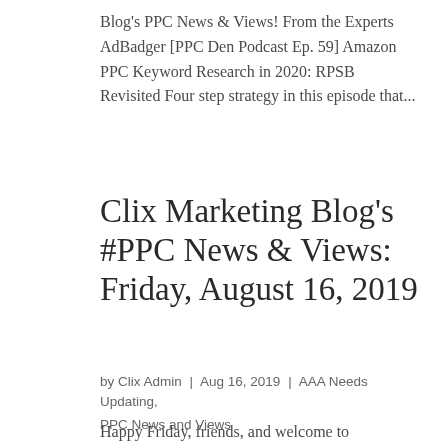Blog's PPC News & Views! From the Experts AdBadger [PPC Den Podcast Ep. 59] Amazon PPC Keyword Research in 2020: RPSB Revisited Four step strategy in this episode that...
Clix Marketing Blog's #PPC News & Views: Friday, August 16, 2019
by Clix Admin | Aug 16, 2019 | AAA Needs Updating, PPC News and Views
Happy Friday, friends, and welcome to